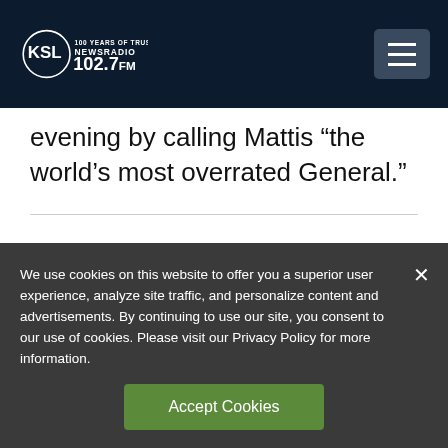KSL NewsRadio 102.7FM
evening by calling Mattis “the world’s most overrated General.”
We use cookies on this website to offer you a superior user experience, analyze site traffic, and personalize content and advertisements. By continuing to use our site, you consent to our use of cookies. Please visit our Privacy Policy for more information.
Accept Cookies